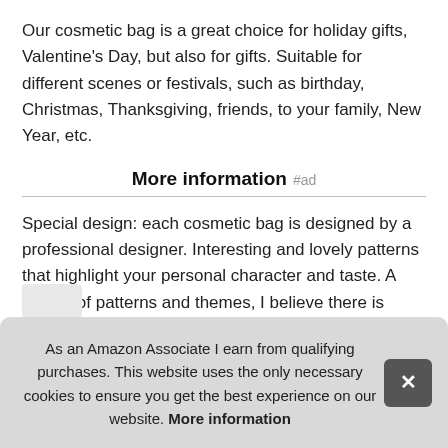Our cosmetic bag is a great choice for holiday gifts, Valentine's Day, but also for gifts. Suitable for different scenes or festivals, such as birthday, Christmas, Thanksgiving, friends, to your family, New Year, etc.
More information #ad
Special design: each cosmetic bag is designed by a professional designer. Interesting and lovely patterns that highlight your personal character and taste. A variety of patterns and themes, I believe there is always a suitable for you or your friends. Funny theme: this makeup bag with funny theme combination will be a great highlight, adding fun and colo
As an Amazon Associate I earn from qualifying purchases. This website uses the only necessary cookies to ensure you get the best experience on our website. More information